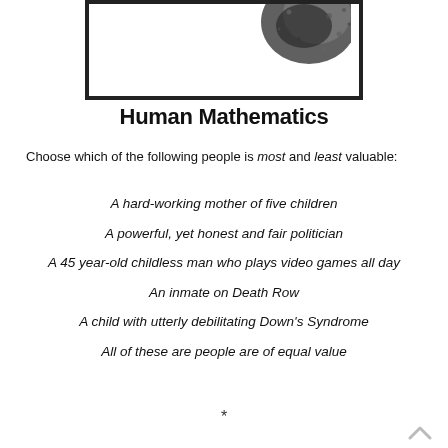[Figure (photo): Partial image showing what appears to be a dark rounded object (possibly a fruit or seed) visible at the top right corner, within a bordered box frame. The left/bottom portion of the image is white/blank.]
Human Mathematics
Choose which of the following people is most and least valuable:
A hard-working mother of five children
A powerful, yet honest and fair politician
A 45 year-old childless man who plays video games all day
An inmate on Death Row
A child with utterly debilitating Down's Syndrome
All of these are people are of equal value
*